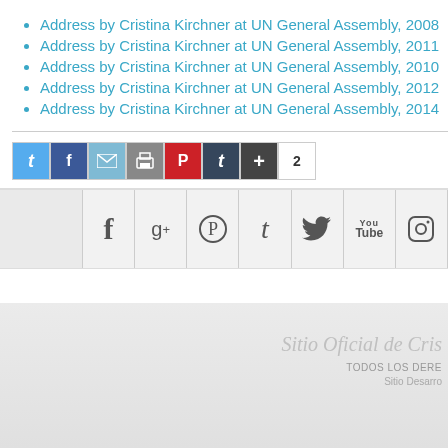Address by Cristina Kirchner at UN General Assembly, 2008
Address by Cristina Kirchner at UN General Assembly, 2011
Address by Cristina Kirchner at UN General Assembly, 2010
Address by Cristina Kirchner at UN General Assembly, 2012
Address by Cristina Kirchner at UN General Assembly, 2014
[Figure (infographic): Social share buttons bar: Twitter, Facebook, Email, Print, Pinterest, Tumblr, More (+), count badge showing 2]
[Figure (infographic): Social media icon footer bar with icons for Facebook (f), Google+ (g+), Pinterest, Tumblr (t), Twitter (bird), YouTube, Instagram]
Sitio Oficial de Cris
TODOS LOS DERE
Sitio Desarro